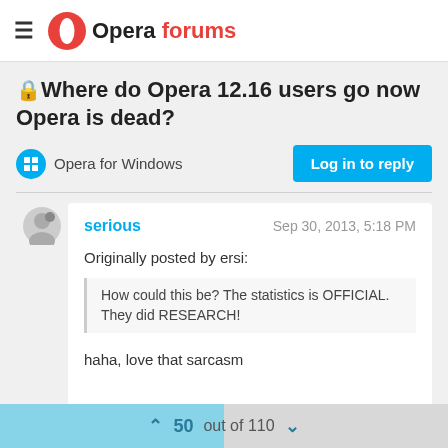Opera forums
🔒Where do Opera 12.16 users go now Opera is dead?
Opera for Windows
Log in to reply
serious   Sep 30, 2013, 5:18 PM
Originally posted by ersi:
How could this be? The statistics is OFFICIAL. They did RESEARCH!
haha, love that sarcasm
50 out of 110